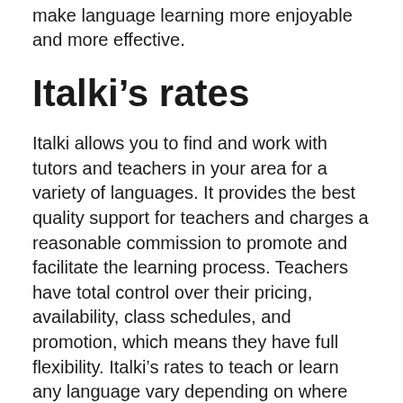make language learning more enjoyable and more effective.
Italki’s rates
Italki allows you to find and work with tutors and teachers in your area for a variety of languages. It provides the best quality support for teachers and charges a reasonable commission to promote and facilitate the learning process. Teachers have total control over their pricing, availability, class schedules, and promotion, which means they have full flexibility. Italki’s rates to teach or learn any language vary depending on where the teacher is located. Classes in countries with high living expenses will generally be more expensive